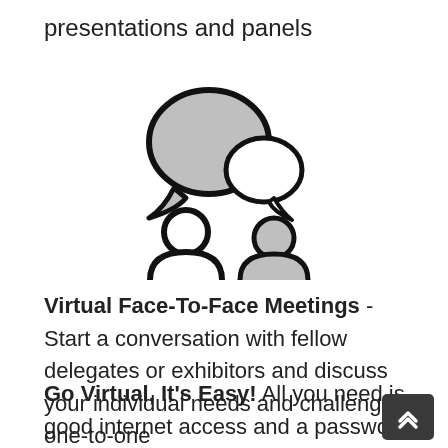presentations and panels
[Figure (illustration): Two stylized person icons with speech bubbles above them, indicating a conversation or meeting. The left person is white/outline, the right person is grey filled. Above them are two overlapping speech bubbles, the larger one grey and the smaller one white/outline.]
Virtual Face-To-Face Meetings - Start a conversation with fellow delegates or exhibitors and discuss your individual needs and challenges one-to-one
Go Virtual, It's Easy! All you need is good internet access and a password which we will provide. Presentations and panels are live, and you can type in